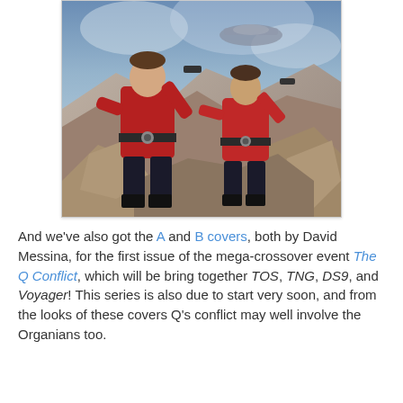[Figure (illustration): Illustration/painting of two men in red Star Trek-style uniforms standing on rocky terrain with weapons raised, with a spaceship and dramatic sky in the background.]
And we've also got the A and B covers, both by David Messina, for the first issue of the mega-crossover event The Q Conflict, which will be bring together TOS, TNG, DS9, and Voyager! This series is also due to start very soon, and from the looks of these covers Q's conflict may well involve the Organians too.